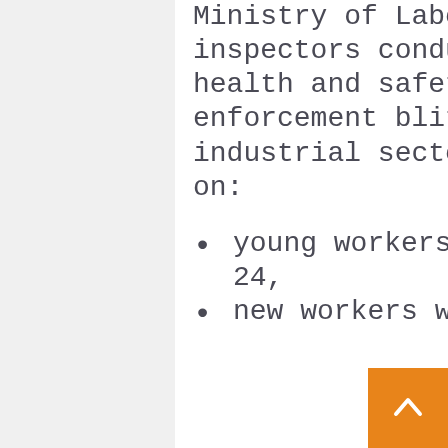Ministry of Labour inspectors conducted a health and safety enforcement blitz in the industrial sector focusing on:
young workers aged 14 to 24,
new workers who were on